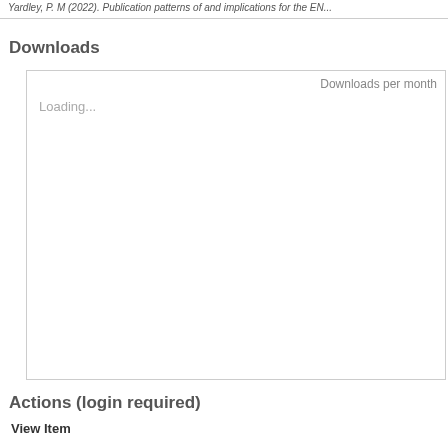Yardley, P. M (2022). Publication patterns of and implications for the EN...
Downloads
[Figure (other): A chart placeholder box with 'Downloads per month' label in top right and 'Loading...' text, indicating a downloads-per-month bar chart that is still loading.]
Actions (login required)
View Item